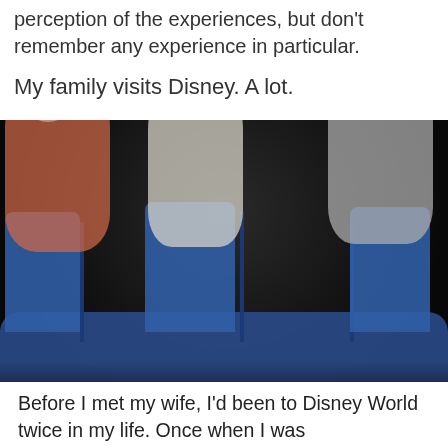perception of the experiences, but don't remember any experience in particular.
My family visits Disney. A lot.
[Figure (photo): Three people on a Disney theme park ride in a dark ride vehicle with blue seats. The person on the left (in a pink/red shirt) is leaning back with head tilted. The person in the center is also reclining. The person on the right is looking at the camera with a surprised/excited expression and one hand raised.]
Before I met my wife, I'd been to Disney World twice in my life. Once when I was